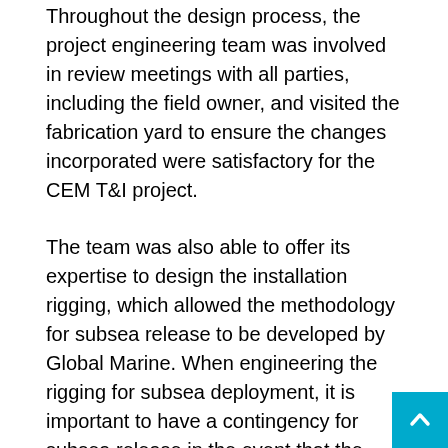Throughout the design process, the project engineering team was involved in review meetings with all parties, including the field owner, and visited the fabrication yard to ensure the changes incorporated were satisfactory for the CEM T&I project.
The team was also able to offer its expertise to design the installation rigging, which allowed the methodology for subsea release to be developed by Global Marine. When engineering the rigging for subsea deployment, it is important to have a contingency for subsea release in the event that the primary system does not work. For this project, Global Marine engineered a primary, secondary and tertiary method for releasing the CEM rigging, with the primary method, using ROV hooks, successfully working as planned.
A further important aspect of installing subsea structures...